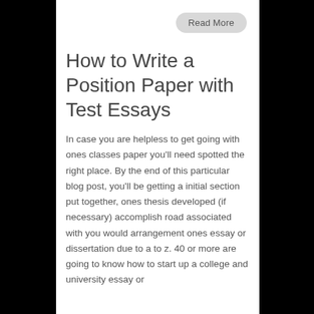[Figure (other): Read More button - rounded rectangle pill button with grey background]
How to Write a Position Paper with Test Essays
In case you are helpless to get going with ones classes paper you'll need spotted the right place. By the end of this particular blog post, you'll be getting a initial section put together, ones thesis developed (if necessary) accomplish road associated with you would arrangement ones essay or dissertation due to a to z. 40 or more are going to know how to start up a college and university essay or dissertation. No, not high school…